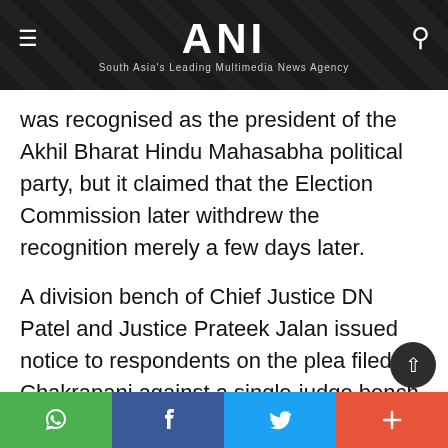ANI — South Asia's Leading Multimedia News Agency
was recognised as the president of the Akhil Bharat Hindu Mahasabha political party, but it claimed that the Election Commission later withdrew the recognition merely a few days later.
A division bench of Chief Justice DN Patel and Justice Prateek Jalan issued notice to respondents on the plea filed by Chakrapani against a single-judge bench order, which had dismissed th
Social share buttons: WhatsApp, Facebook, Twitter, More